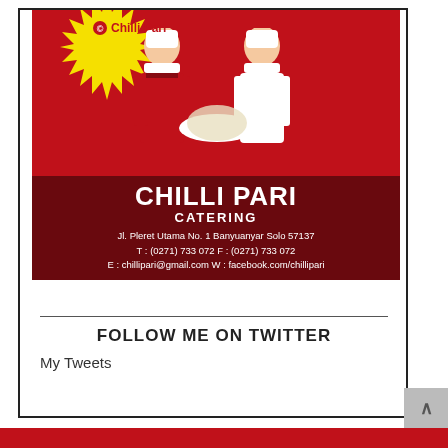[Figure (advertisement): Chilli Pari Catering advertisement showing two chefs in white and red uniforms holding a dish, yellow sunburst logo, red background. Text: CHILLI PARI CATERING, Jl. Pleret Utama No. 1 Banyuanyar Solo 57137, T: (0271) 733 072 F: (0271) 733 072, E: chillipari@gmail.com W: facebook.com/chillipari]
FOLLOW ME ON TWITTER
My Tweets